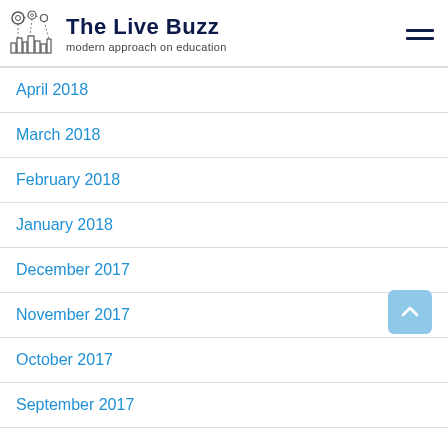The Live Buzz — modern approach on education
April 2018
March 2018
February 2018
January 2018
December 2017
November 2017
October 2017
September 2017